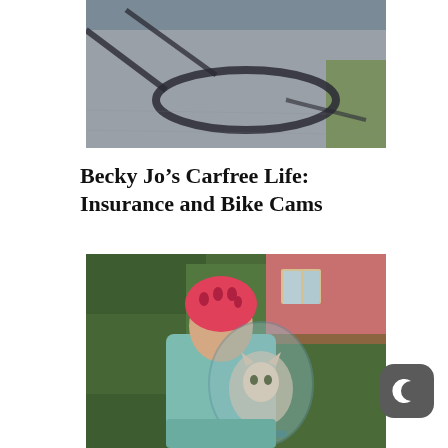[Figure (photo): Top-down view of a bicycle wheel and its shadow on a paved road surface, with grass visible at the edge]
Becky Jo’s Carfree Life: Insurance and Bike Cams
[Figure (photo): Person wearing a pink bicycle helmet and a teal fuzzy jacket, carrying a transparent bubble backpack with a cat inside, standing near a vine-covered wall and pink house]